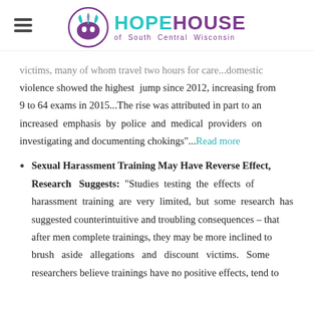HOPEHOUSE of South Central Wisconsin
victims, many of whom travel two hours for care...domestic violence showed the highest jump since 2012, increasing from 9 to 64 exams in 2015...The rise was attributed in part to an increased emphasis by police and medical providers on investigating and documenting chokings"...Read more
Sexual Harassment Training May Have Reverse Effect, Research Suggests: "Studies testing the effects of harassment training are very limited, but some research has suggested counterintuitive and troubling consequences – that after men complete trainings, they may be more inclined to brush aside allegations and discount victims. Some researchers believe trainings have no positive effects, tend to